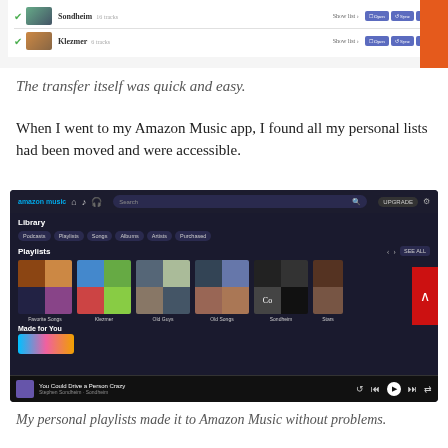[Figure (screenshot): Partial screenshot showing Sondheim and Klezmer playlist rows with Open, Sync, and share buttons]
The transfer itself was quick and easy.
When I went to my Amazon Music app, I found all my personal lists had been moved and were accessible.
[Figure (screenshot): Amazon Music app screenshot showing Library section with Playlists including Favorite Songs, Klezmer, Old Guys, Old Songs, Sondheim, Stars and Made for You section. Now playing: You Could Drive a Person Crazy by Stephen Sondheim - Sondheim]
My personal playlists made it to Amazon Music without problems.